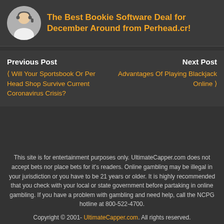The Best Bookie Software Deal for December Around from Perhead.cr!
Previous Post
❮ Will Your Sportsbook Or Per Head Shop Survive Current Coronavirus Crisis?
Next Post
Advantages Of Playing Blackjack Online ❯
This site is for entertainment purposes only. UltimateCapper.com does not accept bets nor place bets for it's readers. Online gambling may be illegal in your jurisdiction or you have to be 21 years or older. It is highly recommended that you check with your local or state government before partaking in online gambling. If you have a problem with gambling and need help, call the NCPG hotline at 800-522-4700.
Copyright © 2001- UltimateCapper.com. All rights reserved.